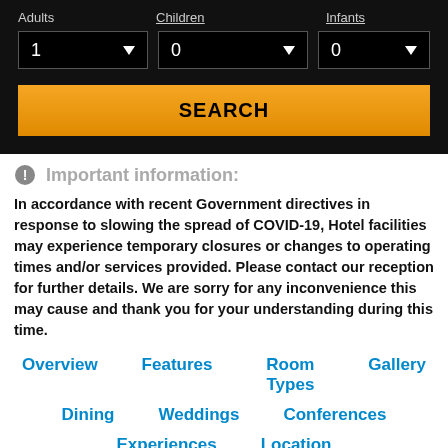[Figure (screenshot): Hotel booking form with Adults (1), Children (0), Infants (0) dropdowns and an orange SEARCH button on a dark background]
Important information:
In accordance with recent Government directives in response to slowing the spread of COVID-19, Hotel facilities may experience temporary closures or changes to operating times and/or services provided. Please contact our reception for further details. We are sorry for any inconvenience this may cause and thank you for your understanding during this time.
Overview
Features
Room Types
Gallery
Dining
Weddings
Conferences
Experiences
Location